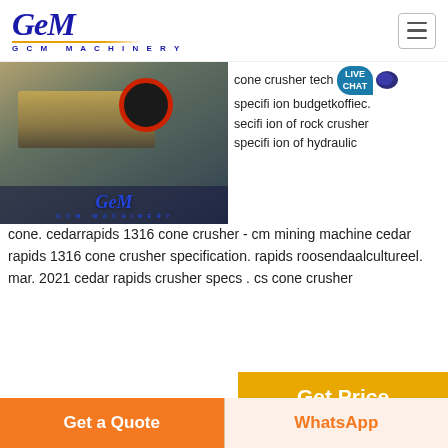[Figure (logo): GCM Machinery logo with blue stylized text and orange underline]
[Figure (photo): Industrial mining/crusher machinery with GCM Machinery branding overlay]
cone crusher tech... specifi ion budgetkoffiec. secifi ion of rock crusher specifi ion of hydraulic cone. cedarrapids 1316 cone crusher - cm mining machine cedar rapids 1316 cone crusher specification. rapids roosendaalcultureel. mar. 2021 cedar rapids crusher specs . cs cone crusher
[Figure (other): LIVE CHAT bubble icon]
Get Price
[Figure (photo): Turkey stone crusher machinery photo]
turkey stone crusher